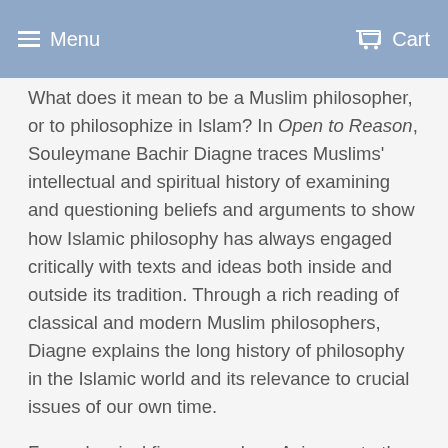Menu    Cart
What does it mean to be a Muslim philosopher, or to philosophize in Islam? In Open to Reason, Souleymane Bachir Diagne traces Muslims' intellectual and spiritual history of examining and questioning beliefs and arguments to show how Islamic philosophy has always engaged critically with texts and ideas both inside and outside its tradition. Through a rich reading of classical and modern Muslim philosophers, Diagne explains the long history of philosophy in the Islamic world and its relevance to crucial issues of our own time.
From classical figures such as Avicenna to the twentieth-century Sufi master and teacher of tolerance Tierno Bokar Salif Tall, Diagne explores how Islamic thinkers have asked and answered such questions as Does religion need philosophy? How can religion coexist with rationalism? What does it mean to interpret a religious narrative philosophically? What does it mean to be human, and what are human beings' responsibilities to nature? Is there such a thing as an "Islamic" state, or should Muslims reinvent political